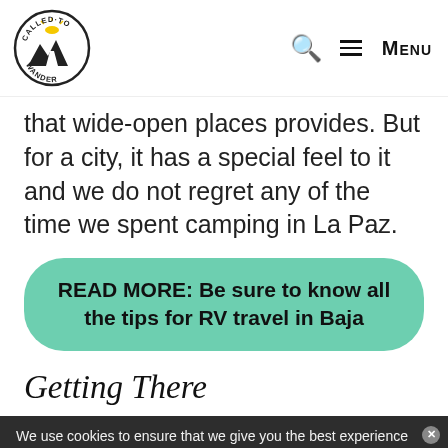Called to Wander — Q [search] ≡ MENU
that wide-open places provides. But for a city, it has a special feel to it and we do not regret any of the time we spent camping in La Paz.
READ MORE: Be sure to know all the tips for RV travel in Baja
Getting There
We use cookies to ensure that we give you the best experience on our website. If you continue to use this site we will assume that you
✓ In-store shopping  ✓ Curbside pickup  ✓ Delivery